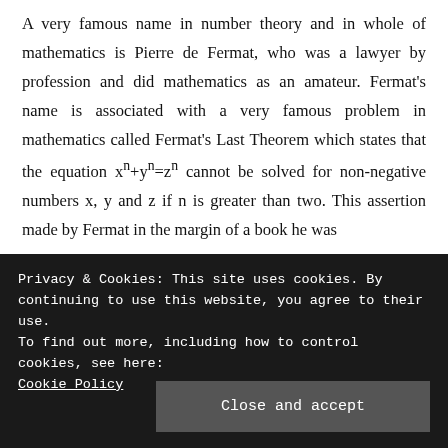A very famous name in number theory and in whole of mathematics is Pierre de Fermat, who was a lawyer by profession and did mathematics as an amateur. Fermat's name is associated with a very famous problem in mathematics called Fermat's Last Theorem which states that the equation xⁿ+yⁿ=zⁿ cannot be solved for non-negative numbers x, y and z if n is greater than two. This assertion made by Fermat in the margin of a book he was
Privacy & Cookies: This site uses cookies. By continuing to use this website, you agree to their use.
To find out more, including how to control cookies, see here:
Cookie Policy
runs for more than 100 pages and infact even